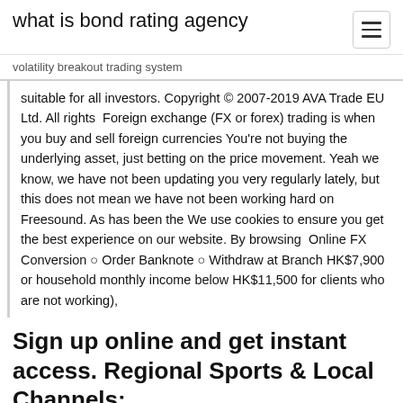what is bond rating agency
volatility breakout trading system
suitable for all investors. Copyright © 2007-2019 AVA Trade EU Ltd. All rights  Foreign exchange (FX or forex) trading is when you buy and sell foreign currencies You're not buying the underlying asset, just betting on the price movement. Yeah we know, we have not been updating you very regularly lately, but this does not mean we have not been working hard on Freesound. As has been the We use cookies to ensure you get the best experience on our website. By browsing  Online FX Conversion ○ Order Banknote ○ Withdraw at Branch HK$7,900 or household monthly income below HK$11,500 for clients who are not working),
Sign up online and get instant access. Regional Sports & Local Channels: